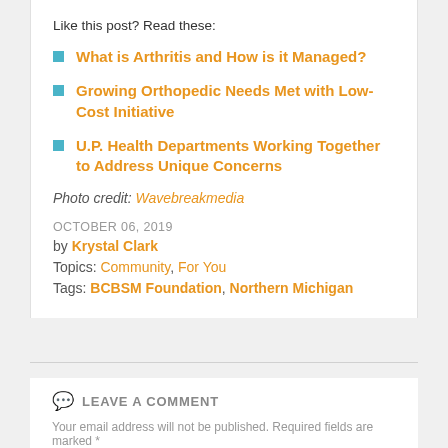Like this post? Read these:
What is Arthritis and How is it Managed?
Growing Orthopedic Needs Met with Low-Cost Initiative
U.P. Health Departments Working Together to Address Unique Concerns
Photo credit: Wavebreakmedia
OCTOBER 06, 2019
by Krystal Clark
Topics: Community, For You
Tags: BCBSM Foundation, Northern Michigan
LEAVE A COMMENT
Your email address will not be published. Required fields are marked *